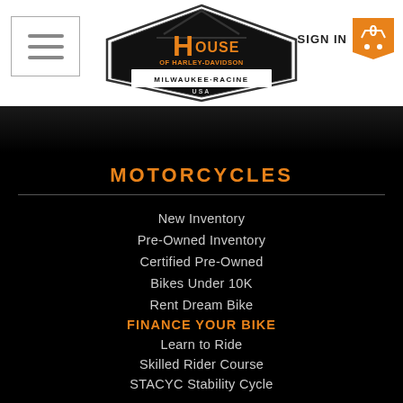[Figure (logo): House of Harley-Davidson Milwaukee-Racine USA logo with diamond/house shape]
MOTORCYCLES
New Inventory
Pre-Owned Inventory
Certified Pre-Owned
Bikes Under 10K
Rent Dream Bike
FINANCE YOUR BIKE
Learn to Ride
Skilled Rider Course
STACYC Stability Cycle
SERVICE
Service Your Bike
VIP Priority Service